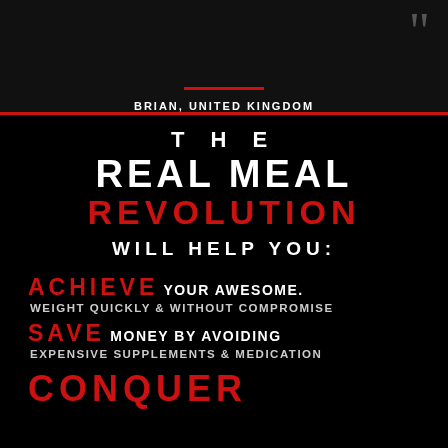BRIAN, UNITED KINGDOM
THE REAL MEAL REVOLUTION WILL HELP YOU:
ACHIEVE YOUR AWESOME. WEIGHT QUICKLY & WITHOUT COMPROMISE
SAVE MONEY BY AVOIDING EXPENSIVE SUPPLEMENTS & MEDICATION
CONQUER